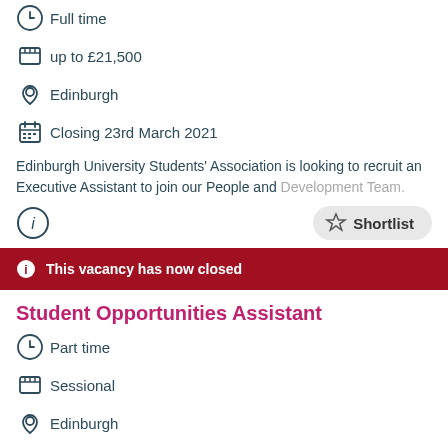Full time
up to £21,500
Edinburgh
Closing 23rd March 2021
Edinburgh University Students' Association is looking to recruit an Executive Assistant to join our People and Development Team.
This vacancy has now closed
Student Opportunities Assistant
Part time
Sessional
Edinburgh
Closing 19th April 2021